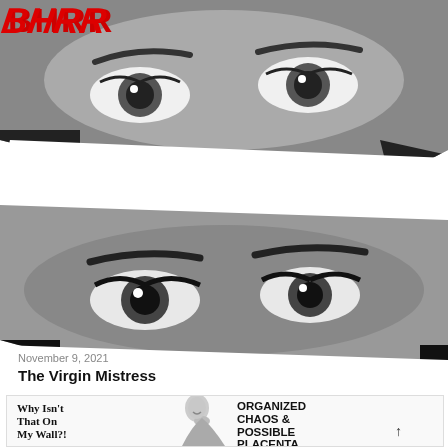[Figure (photo): Composite black and white image showing three horizontal strips of close-up female faces/eyes, with a red bold text 'BHRR' partially visible at top left. Three strips are arranged diagonally, showing different women's eyes and eyebrows in dramatic B&W photography.]
November 9, 2021
The Virgin Mistress
[Figure (infographic): Bottom card with three sections: left text 'Why Isn't That On My Wall?!', center black and white photo of a smiling woman with hair up, right bold text 'ORGANIZED CHAOS & POSSIBLE PLACENTA' with an upward arrow.]